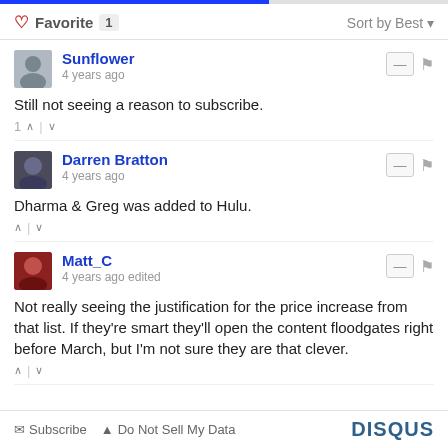Favorite 1  Sort by Best
Sunflower
4 years ago
Still not seeing a reason to subscribe.
Darren Bratton
4 years ago
Dharma & Greg was added to Hulu.
Matt_C
4 years ago edited
Not really seeing the justification for the price increase from that list. If they're smart they'll open the content floodgates right before March, but I'm not sure they are that clever.
Subscribe  Do Not Sell My Data  DISQUS